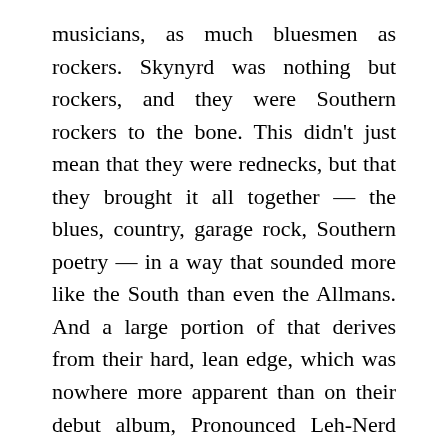musicians, as much bluesmen as rockers. Skynyrd was nothing but rockers, and they were Southern rockers to the bone. This didn't just mean that they were rednecks, but that they brought it all together — the blues, country, garage rock, Southern poetry — in a way that sounded more like the South than even the Allmans. And a large portion of that derives from their hard, lean edge, which was nowhere more apparent than on their debut album, Pronounced Leh-Nerd Skin-Nerd. Produced by Al Kooper, there are few records that sound this raw and uncompromising, especially records by debut bands. Then again, few bands sound this confident and